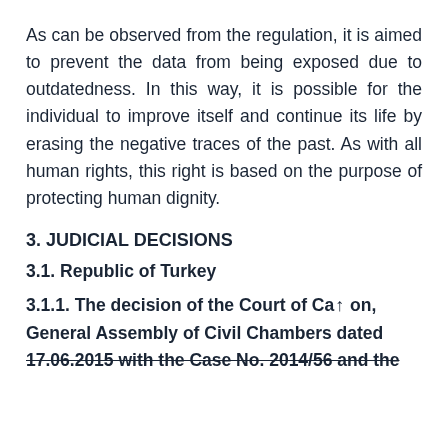As can be observed from the regulation, it is aimed to prevent the data from being exposed due to outdatedness. In this way, it is possible for the individual to improve itself and continue its life by erasing the negative traces of the past. As with all human rights, this right is based on the purpose of protecting human dignity.
3. JUDICIAL DECISIONS
3.1. Republic of Turkey
3.1.1. The decision of the Court of Cassation, General Assembly of Civil Chambers dated 17.06.2015 with the Case No. 2014/56 and the